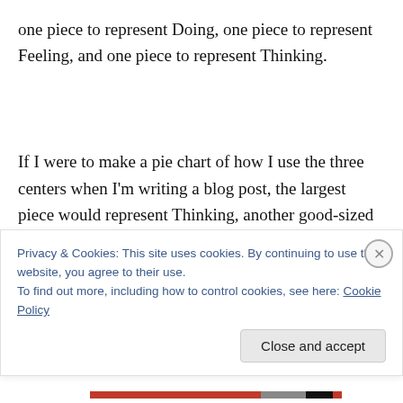one piece to represent Doing, one piece to represent Feeling, and one piece to represent Thinking.
If I were to make a pie chart of how I use the three centers when I'm writing a blog post, the largest piece would represent Thinking, another good-sized piece would represent Doing, and a small slice would represent Feeling. On the other hand, when I'm sitting in the chair in
Privacy & Cookies: This site uses cookies. By continuing to use this website, you agree to their use.
To find out more, including how to control cookies, see here: Cookie Policy